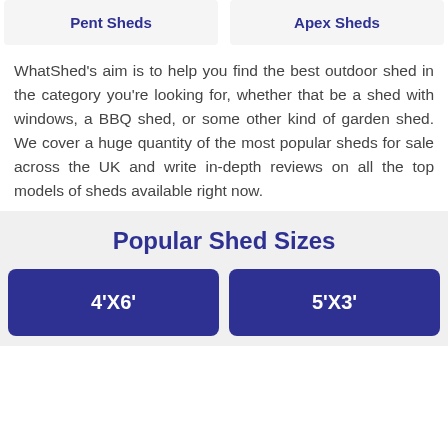Pent Sheds
Apex Sheds
WhatShed's aim is to help you find the best outdoor shed in the category you're looking for, whether that be a shed with windows, a BBQ shed, or some other kind of garden shed. We cover a huge quantity of the most popular sheds for sale across the UK and write in-depth reviews on all the top models of sheds available right now.
Popular Shed Sizes
4'X6'
5'X3'